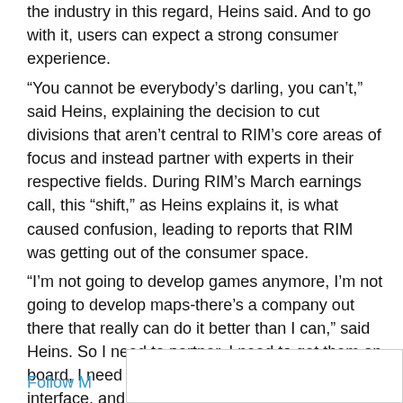the industry in this regard, Heins said. And to go with it, users can expect a strong consumer experience.
“You cannot be everybody’s darling, you can’t,” said Heins, explaining the decision to cut divisions that aren’t central to RIM’s core areas of focus and instead partner with experts in their respective fields. During RIM’s March earnings call, this “shift,” as Heins explains it, is what caused confusion, leading to reports that RIM was getting out of the consumer space.
“I’m not going to develop games anymore, I’m not going to develop maps-there’s a company out there that really can do it better than I can,” said Heins. So I need to partner, I need to get them on board, I need to get them a great programming interface, and off we go.”
Follow M